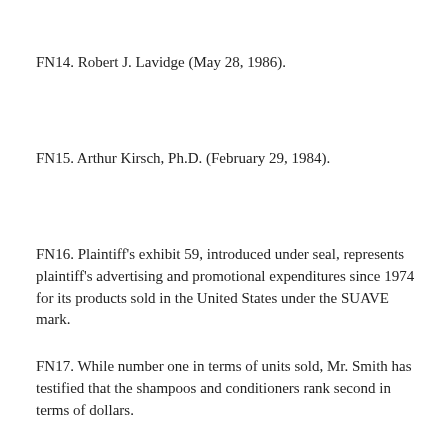FN14. Robert J. Lavidge (May 28, 1986).
FN15. Arthur Kirsch, Ph.D. (February 29, 1984).
FN16. Plaintiff's exhibit 59, introduced under seal, represents plaintiff's advertising and promotional expenditures since 1974 for its products sold in the United States under the SUAVE mark.
FN17. While number one in terms of units sold, Mr. Smith has testified that the shampoos and conditioners rank second in terms of dollars.